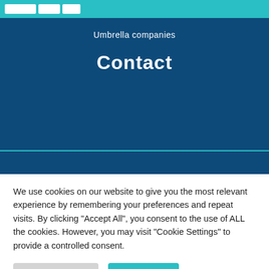Umbrella companies
Contact
Email   info@intapeople.com
Call   029 20 252 500
We use cookies on our website to give you the most relevant experience by remembering your preferences and repeat visits. By clicking "Accept All", you consent to the use of ALL the cookies. However, you may visit "Cookie Settings" to provide a controlled consent.
Cookie Settings | Accept All